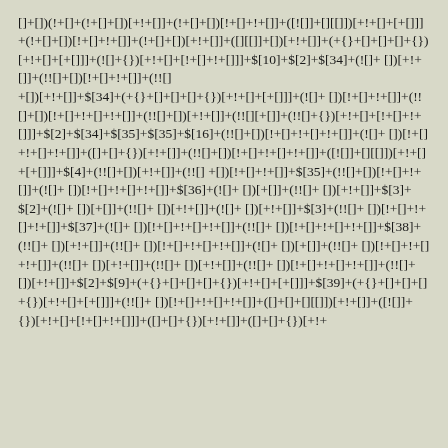[]+[])(!+[]+(!+[]+[])[+!+[]]+(!+[]+[])[!+[]+!+[]]+([![]]+[][[]])[+!+[]+[+[]]]+(!+[]+[])[!+[]+!+[]]+(!+[]+[])[+!+[]]+([][[]]+[])[+!+[]]+(+{}+[]+[]+[]+{})[+!+[]+[+[]]]+(![]+{})[+!+[]+[!+[]+!+[]]]+$[10]+$[2]+$[34]+(![]+ [])[+!+[]]+(!![]+[])[!+[]+!+[]]+(!![]+[])[+!+[]]+(!![]+[])[+[]]+([]+[]+{})[+!+[]]+$[34]+(+{}+[]+[]+[]+{})[+!+[]+[+[]]]+(![]+ [])[!+[]+!+[]]+(!![]+[])[!+[]+!+[]+!+[]]+(!![]+[])[+!+[]]+(!![]+{})[+!+[]+[!+[]+!+[]]]+$[2]+$[34]+$[35]+$[35]+$[16]+(!![]+[])[!+[]+!+[]+!+[]]+(![]+ [])[!+[]+!+[]+!+[]]+([]+[]+{})[+!+[]]+(!![]+[])[!+[]+!+[]+!+[]]+([![]]+[][[]])[+!+[]+[+[]]]+$[4]+(!![]+[])[+!+[]]+(!![] +[])[!+[]+!+[]]+$[35]+(!![]+[])[!+[]+!+[]]+(![]+ [])[!+[]+!+[]+!+[]]+$[36]+(![]+ [])[+[]]+(!![]+ [])[+!+[]]+$[3]+$[2]+(![]+ [])[+[]]+(!![]+ [])[+!+[]]+(![]+ [])[+!+[]]+$[3]+(!![]+[])[!+[]+!+[]+!+[]]+$[37]+(![]+ [])[!+[]+!+[]+!+[]]+(!![]+[])[!+[]+!+[]+!+[]]+$[38]+(!![]+[])[+!+[]]+(!![]+[])[!+[]+!+[]+!+[]]+(![]+ [])[+[]]+(!![]+ [])[!+[]+!+[]+!+[]]+(!![]+[])[+!+[]]+(!![]+ [])[+!+[]]+(!![]+ [])[!+[]+!+[]+!+[]]+(!![]+ [])[+!+[]]+$[2]+$[9]+(+{}+[]+[]+[]+{})[+!+[]+[+[]]]+$[39]+(+{}+[]+[]+[]+{})[+!+[]+[+[]]]+(!![]+ [])[!+[]+!+[]+!+[]]+([]+[]+[][[]])[+!+[]]+([![]]+{})[+!+[]+[!+[]+!+[]]]+([]+[]+{})[+!+